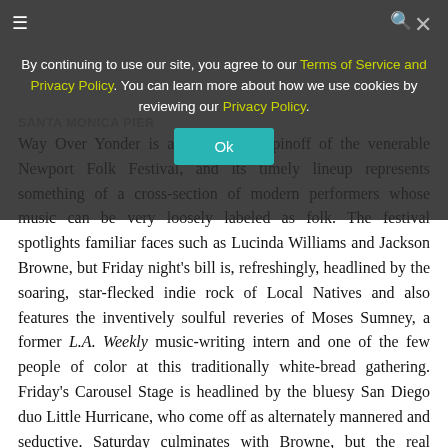By continuing to use our site, you agree to our Terms of Service and Privacy Policy. You can learn more about how we use cookies by reviewing our Privacy Policy.
SANTA MONICA PIER
Way Over Yonder is a West Coast spinoff of the venerable Newport Folk Festival, and its timely lineup represents something of a cross-section of modern performers whose music can be very loosely labeled as folk. The festival spotlights familiar faces such as Lucinda Williams and Jackson Browne, but Friday night's bill is, refreshingly, headlined by the soaring, star-flecked indie rock of Local Natives and also features the inventively soulful reveries of Moses Sumney, a former L.A. Weekly music-writing intern and one of the few people of color at this traditionally white-bread gathering. Friday's Carousel Stage is headlined by the bluesy San Diego duo Little Hurricane, who come off as alternately mannered and seductive. Saturday culminates with Browne, but the real highlights might be the thunderously restless anthems of Heartless Bastards, the eerily prismatic psychedelic folk of Linda Perhacs and the down-home, countrified melodicism of Leslie Stevens. Also Saturday, Sept. 27. —Falling James
Saturday, September 27